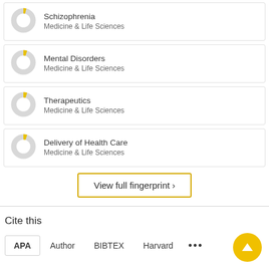Schizophrenia
Medicine & Life Sciences
Mental Disorders
Medicine & Life Sciences
Therapeutics
Medicine & Life Sciences
Delivery of Health Care
Medicine & Life Sciences
View full fingerprint >
Cite this
APA   Author   BIBTEX   Harvard   ...